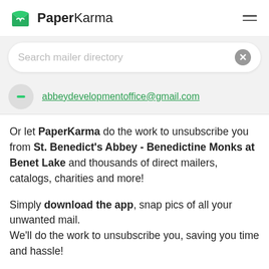PaperKarma
Search mailer directory
abbeydevelopmentoffice@gmail.com
Or let PaperKarma do the work to unsubscribe you from St. Benedict's Abbey - Benedictine Monks at Benet Lake and thousands of direct mailers, catalogs, charities and more!
Simply download the app, snap pics of all your unwanted mail.
We'll do the work to unsubscribe you, saving you time and hassle!